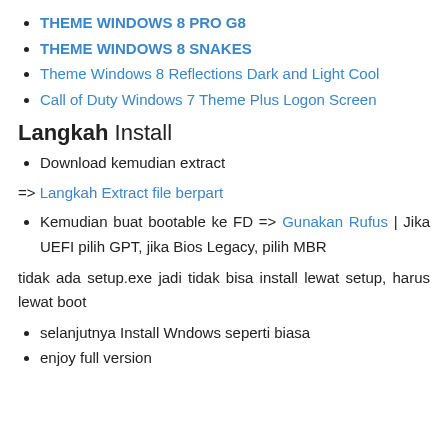THEME WINDOWS 8 PRO G8
THEME WINDOWS 8 SNAKES
Theme Windows 8 Reflections Dark and Light Cool
Call of Duty Windows 7 Theme Plus Logon Screen
Langkah Install
Download kemudian extract
=> Langkah Extract file berpart
Kemudian buat bootable ke FD => Gunakan Rufus | Jika UEFI pilih GPT, jika Bios Legacy, pilih MBR
tidak ada setup.exe jadi tidak bisa install lewat setup, harus lewat boot
selanjutnya Install Wndows seperti biasa
enjoy full version